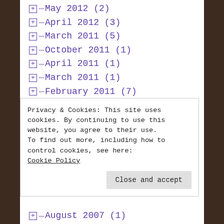May 2012 (2)
April 2012 (3)
March 2011 (5)
October 2011 (1)
April 2011 (1)
March 2011 (1)
February 2011 (7)
November 2009 (4)
June 2009 (1)
April 2009 (4)
January 2009 (2)
November 2008 (6)
August 2008 (7) [partial]
Privacy & Cookies: This site uses cookies. By continuing to use this website, you agree to their use.
To find out more, including how to control cookies, see here:
Cookie Policy
August 2007 (1)